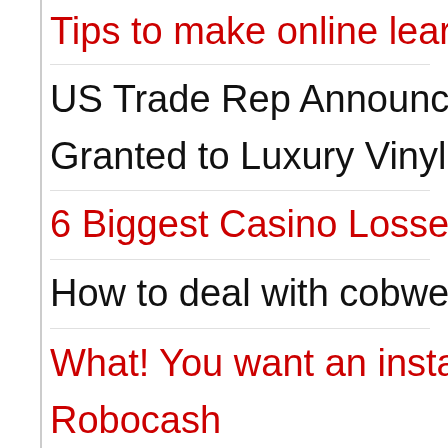Tips to make online learnin…
US Trade Rep Announces… Granted to Luxury Vinyl Ti…
6 Biggest Casino Losses
How to deal with cobwebs…
What! You want an instant… Robocash
Why people choose online… increase your winning pro…